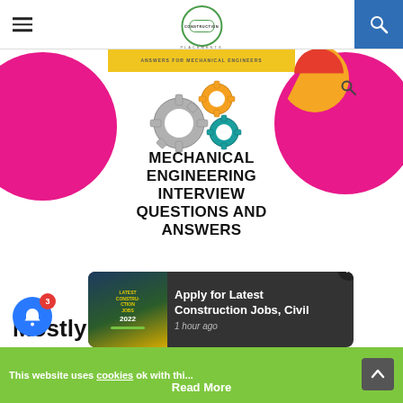Construction Placements — navigation bar with hamburger menu and search
[Figure (illustration): Book cover for 'Mechanical Engineering Interview Questions and Answers' by ConstructionPlacements, featuring gear icons, pink circles, and a black banner at the bottom]
Mostly Asked Mechanical Engineering Interview
Apply for Latest Construction Jobs, Civil — 1 hour ago
This website uses cookies. ok with thi...
Read More